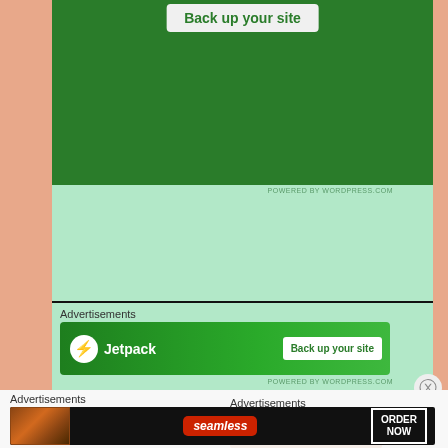[Figure (screenshot): Top portion of a Jetpack 'Back up your site' advertisement banner on a light green background. The ad has a dark green background with a white button labeled 'Back up your site'.]
[Figure (screenshot): Jetpack advertisement banner showing the Jetpack logo (lightning bolt icon) and 'Back up your site' button on a green gradient background.]
Advertisements
[Figure (screenshot): Jetpack ad banner with logo on left and 'Back up your site' white button on right, green background.]
Advertisements
[Figure (screenshot): Light/beige colored advertisement placeholder box.]
Advertisements
[Figure (screenshot): Seamless food delivery advertisement showing pizza image on left, Seamless logo in center, and 'ORDER NOW' button on right, dark background.]